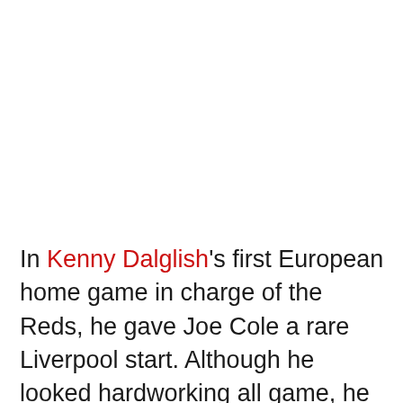In Kenny Dalglish's first European home game in charge of the Reds, he gave Joe Cole a rare Liverpool start. Although he looked hardworking all game, he seemed to lack pace at times and looked short on match fitness. In the closing seconds a bit more pace would have seen him through on goal, but his desperate shot after an exhaustive powering run through the middle to get on Kuyt's pass was well